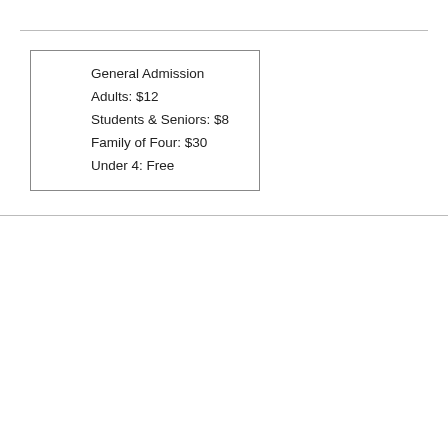General Admission
Adults: $12
Students & Seniors: $8
Family of Four: $30
Under 4: Free
The Prospect High School Band Boosters will be sponsoring the 25th annual Knight of Champions marching band competition on Saturday, October 2 at Prospect High School, 801 W. Kensington, Mount Prospect, IL. Bands will compete in three classes: A (up to 64 members); AA (65-96 members); AAA (97 or more members.) Awards presented will include first, second, and third in Class A, AA, and AAA. Additional awards for outstanding...